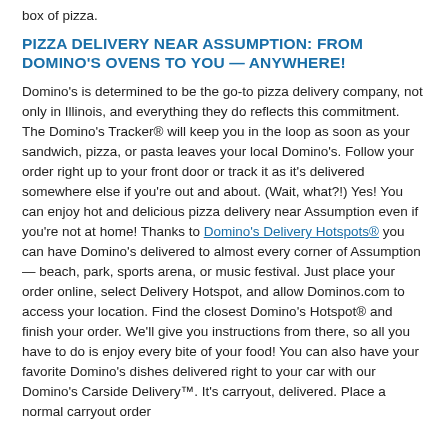box of pizza.
PIZZA DELIVERY NEAR ASSUMPTION: FROM DOMINO'S OVENS TO YOU — ANYWHERE!
Domino's is determined to be the go-to pizza delivery company, not only in Illinois, and everything they do reflects this commitment. The Domino's Tracker® will keep you in the loop as soon as your sandwich, pizza, or pasta leaves your local Domino's. Follow your order right up to your front door or track it as it's delivered somewhere else if you're out and about. (Wait, what?!) Yes! You can enjoy hot and delicious pizza delivery near Assumption even if you're not at home! Thanks to Domino's Delivery Hotspots® you can have Domino's delivered to almost every corner of Assumption — beach, park, sports arena, or music festival. Just place your order online, select Delivery Hotspot, and allow Dominos.com to access your location. Find the closest Domino's Hotspot® and finish your order. We'll give you instructions from there, so all you have to do is enjoy every bite of your food! You can also have your favorite Domino's dishes delivered right to your car with our Domino's Carside Delivery™. It's carryout, delivered. Place a normal carryout order